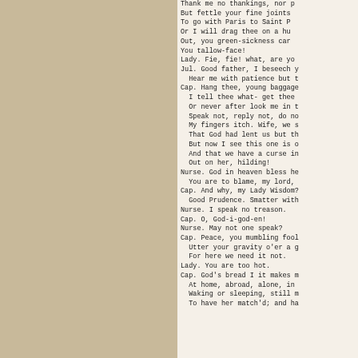Thank me no thankings, nor proud me no prouds,
But fettle your fine joints 'gainst Thursday next
To go with Paris to Saint Peter's Church,
Or I will drag thee on a hurdle thither.
Out, you green-sickness carrion! out, you baggage!
You tallow-face!
Lady. Fie, fie! what, are you mad?
Jul. Good father, I beseech you on my knees,
  Hear me with patience but to speak a word.
Cap. Hang thee, young baggage! disobedient wretch!
  I tell thee what- get thee to church a Thursday
  Or never after look me in the face.
  Speak not, reply not, do not answer me!
  My fingers itch. Wife, we scarce thought us blest
  That God had lent us but this only child;
  But now I see this one is one too much,
  And that we have a curse in having her.
  Out on her, hilding!
Nurse. God in heaven bless her!
  You are to blame, my lord, to rate her so.
Cap. And why, my Lady Wisdom? Hold your tongue,
  Good Prudence. Smatter with your gossips, go!
Nurse. I speak no treason.
Cap. O, God-i-god-en!
Nurse. May not one speak?
Cap. Peace, you mumbling fool!
  Utter your gravity o'er a gossip's bowl,
  For here we need it not.
Lady. You are too hot.
Cap. God's bread I it makes me mad!
  At home, abroad, alone, in company,
  Waking or sleeping, still my care hath been
  To have her match'd; and having now provided